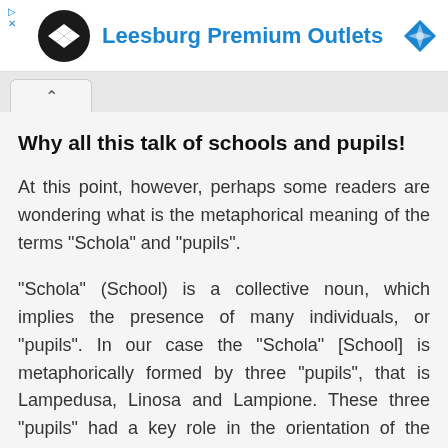Leesburg Premium Outlets
Why all this talk of schools and pupils!
At this point, however, perhaps some readers are wondering what is the metaphorical meaning of the terms "Schola" and "pupils".
"Schola" (School) is a collective noun, which implies the presence of many individuals, or "pupils". In our case the "Schola" [School] is metaphorically formed by three "pupils", that is Lampedusa, Linosa and Lampione. These three "pupils" had a key role in the orientation of the sailors who came to the